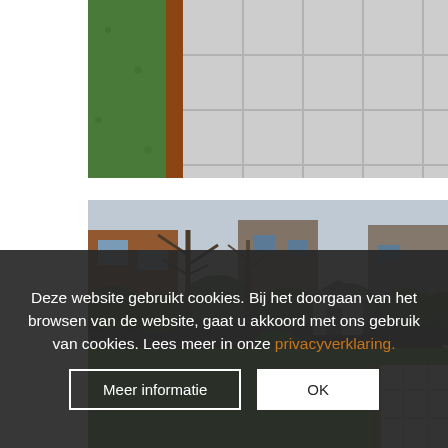[Figure (photo): Close-up photo of a garden patio with large light grey stone tiles and green lawn/grass border, brick edge visible.]
[Figure (photo): Wide-angle photo of a residential back garden with green lawn, surrounding shrubs and trees, brick houses in the background, garden shed, bicycle and ladder visible.]
Deze website gebruikt cookies. Bij het doorgaan van het browsen van de website, gaat u akkoord met ons gebruik van cookies. Lees meer in onze privacyverklaring.